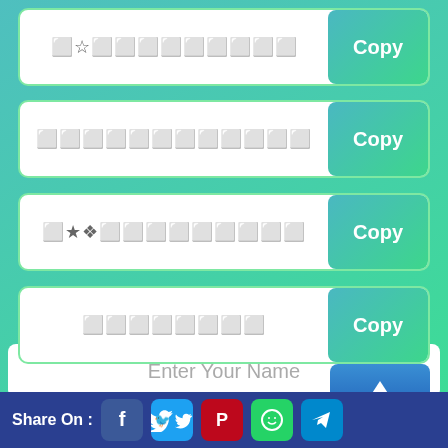🔲☆🔲🔲🔲🔲🔲🔲🔲🔲🔲
Copy
🔲🔲🔲🔲🔲🔲🔲🔲🔲🔲🔲🔲
Copy
🔲★◆🔲🔲🔲🔲🔲🔲🔲🔲🔲
Copy
🔲🔲🔲🔲🔲🔲🔲🔲
Copy
Enter Your Name
Share On :